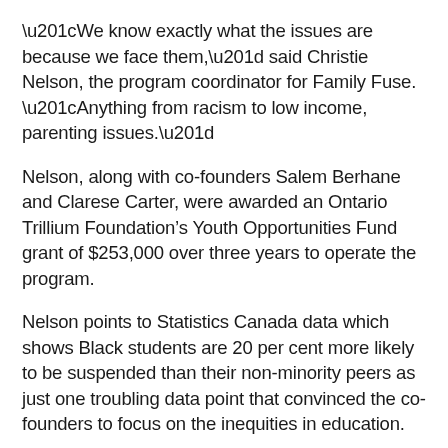“We know exactly what the issues are because we face them,” said Christie Nelson, the program coordinator for Family Fuse. “Anything from racism to low income, parenting issues.”
Nelson, along with co-founders Salem Berhane and Clarese Carter, were awarded an Ontario Trillium Foundation’s Youth Opportunities Fund grant of $253,000 over three years to operate the program.
Nelson points to Statistics Canada data which shows Black students are 20 per cent more likely to be suspended than their non-minority peers as just one troubling data point that convinced the co-founders to focus on the inequities in education.
Another figure appears to show a lack of hope among young Black students.